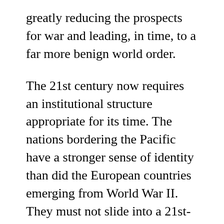greatly reducing the prospects for war and leading, in time, to a far more benign world order.
The 21st century now requires an institutional structure appropriate for its time. The nations bordering the Pacific have a stronger sense of identity than did the European countries emerging from World War II. They must not slide into a 21st-century version of classic balance-of-power politics. It would be especially pernicious if opposing blocs were to form on each side of the Pacific. While the center of gravity of international affairs